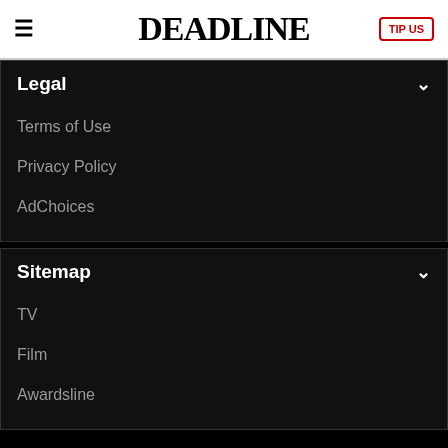DEADLINE | TIP US
Legal
Terms of Use
Privacy Policy
AdChoices
Sitemap
TV
Film
Awardsline